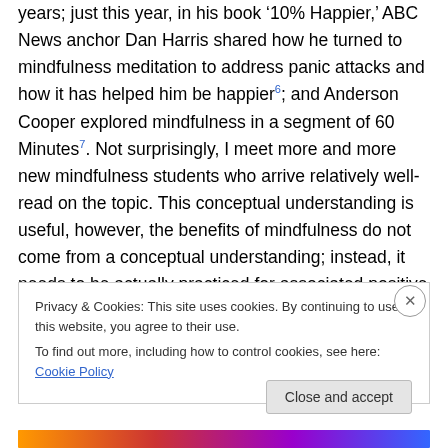years; just this year, in his book '10% Happier,' ABC News anchor Dan Harris shared how he turned to mindfulness meditation to address panic attacks and how it has helped him be happier⁶; and Anderson Cooper explored mindfulness in a segment of 60 Minutes⁷. Not surprisingly, I meet more and more new mindfulness students who arrive relatively well-read on the topic. This conceptual understanding is useful, however, the benefits of mindfulness do not come from a conceptual understanding; instead, it needs to be actually practiced for associated positive changes in the brain to occur. Just
Privacy & Cookies: This site uses cookies. By continuing to use this website, you agree to their use.
To find out more, including how to control cookies, see here: Cookie Policy